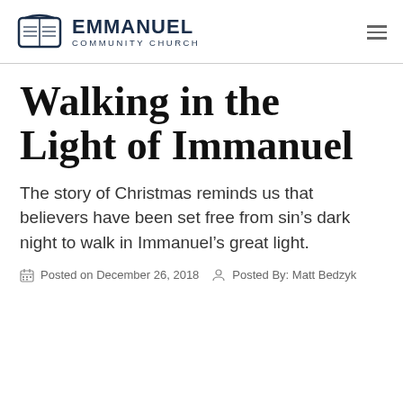EMMANUEL COMMUNITY CHURCH
Walking in the Light of Immanuel
The story of Christmas reminds us that believers have been set free from sin’s dark night to walk in Immanuel’s great light.
Posted on December 26, 2018   Posted By: Matt Bedzyk